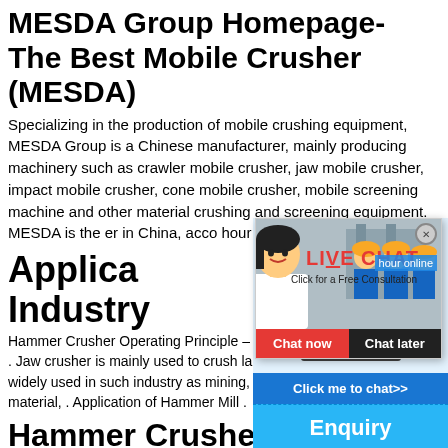MESDA Group Homepage- The Best Mobile Crusher (MESDA)
Specializing in the production of mobile crushing equipment, MESDA Group is a Chinese manufacturer, mainly producing machinery such as crawler mobile crusher, jaw mobile crusher, impact mobile crusher, cone mobile crusher, mobile screening machine and other material crushing and screening equipment. MESDA is the [best mobile crusher manufacturer] in China, according to [hour online]
Application Industry
Hammer Crusher Operating Principle – Lim[estone] . Jaw crusher is mainly used to crush large [rocks] widely used in such industry as mining, me[tallurgy] material, . Application of Hammer Mill .
Hammer Crusher Mark[et] Type, Application and .
The "Global Hammer Crusher Market Ana[lysis]
[Figure (screenshot): Live Chat popup with a woman in white shirt in foreground and workers with yellow hard hats in background. Shows LIVE CHAT label in red, 'Click for a Free Consultation' text, and Chat now / Chat later buttons.]
[Figure (screenshot): Right sidebar showing a cone crusher machine image on blue background, with 'Click me to chat>>' button, 'Enquiry' section, and 'limingjlmofen' text.]